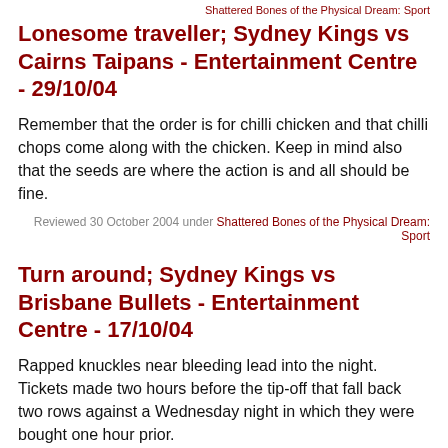Shattered Bones of the Physical Dream: Sport
Lonesome traveller; Sydney Kings vs Cairns Taipans - Entertainment Centre - 29/10/04
Remember that the order is for chilli chicken and that chilli chops come along with the chicken. Keep in mind also that the seeds are where the action is and all should be fine.
Reviewed 30 October 2004 under Shattered Bones of the Physical Dream: Sport
Turn around; Sydney Kings vs Brisbane Bullets - Entertainment Centre - 17/10/04
Rapped knuckles near bleeding lead into the night. Tickets made two hours before the tip-off that fall back two rows against a Wednesday night in which they were bought one hour prior.
Reviewed 18 October 2004 under Shattered Bones of the Physical Dream: